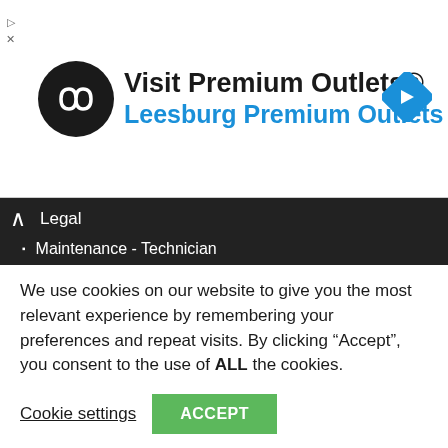[Figure (screenshot): Advertisement banner for Visit Premium Outlets® - Leesburg Premium Outlets, with a black circular logo with infinity-like symbol on left, blue navigation arrow icon on right, and small play/close controls on far left.]
Legal
Maintenance - Technician
Manager - Director
Medical - Healthcare
Operator - Help desk
Research
Sales - Marketing
Secretarial
Teaching - Education - Training
Telecommunication
Unskilled
We use cookies on our website to give you the most relevant experience by remembering your preferences and repeat visits. By clicking “Accept”, you consent to the use of ALL the cookies.
Cookie settings  ACCEPT